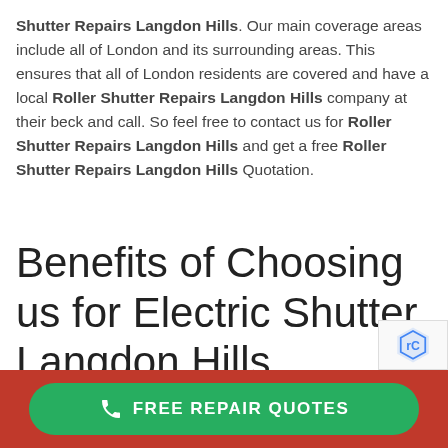Shutter Repairs Langdon Hills. Our main coverage areas include all of London and its surrounding areas. This ensures that all of London residents are covered and have a local Roller Shutter Repairs Langdon Hills company at their beck and call. So feel free to contact us for Roller Shutter Repairs Langdon Hills and get a free Roller Shutter Repairs Langdon Hills Quotation.
Benefits of Choosing us for Electric Shutter Langdon Hills
FREE REPAIR QUOTES